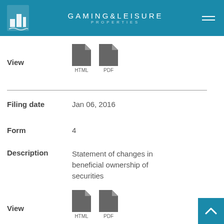GAMING&LEISURE PROPERTIES
View   HTML   PDF
Filing date   Jan 06, 2016
Form   4
Description   Statement of changes in beneficial ownership of securities
View   HTML   PDF